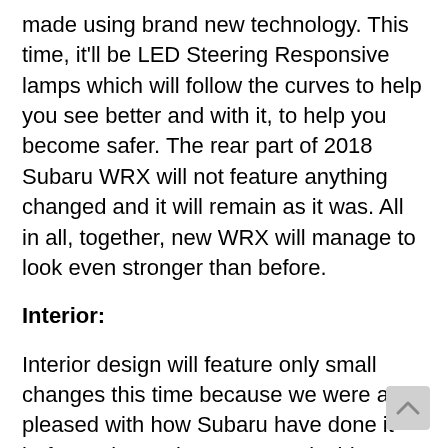made using brand new technology. This time, it'll be LED Steering Responsive lamps which will follow the curves to help you see better and with it, to help you become safer. The rear part of 2018 Subaru WRX will not feature anything changed and it will remain as it was. All in all, together, new WRX will manage to look even stronger than before.
Interior:
Interior design will feature only small changes this time because we were all pleased with how Subaru have done it before. Biggest improvement inside 2018 Subaru WRX is that he's going to be made using more quality, finer materials. Even though a front row of seats had it in the previous generation as well, now,